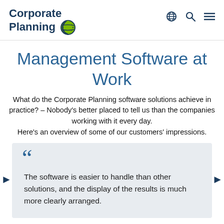Corporate Planning
Management Software at Work
What do the Corporate Planning software solutions achieve in practice? – Nobody's better placed to tell us than the companies working with it every day. Here's an overview of some of our customers' impressions.
The software is easier to handle than other solutions, and the display of the results is much more clearly arranged.